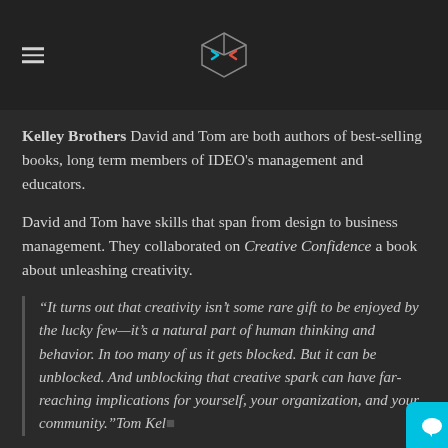[Logo and hamburger menu]
Kelley Brothers David and Tom are both authors of best-selling books, long term members of IDEO's management and educators.
David and Tom have skills that span from design to business management. They collaborated on Creative Confidence a book about unleashing creativity.
“It turns out that creativity isn’t some rare gift to be enjoyed by the lucky few—it’s a natural part of human thinking and behavior. In too many of us it gets blocked. But it can be unblocked. And unblocking that creative spark can have far-reaching implications for yourself, your organization, and your community.”Tom Kell…